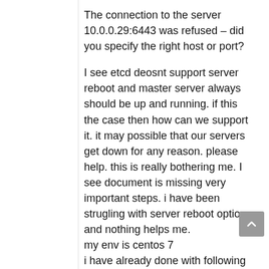The connection to the server 10.0.0.29:6443 was refused – did you specify the right host or port?
I see etcd deosnt support server reboot and master server always should be up and running. if this the case then how can we support it. it may possible that our servers get down for any reason. please help. this is really bothering me. I see document is missing very important steps. i have been strugling with server reboot option and nothing helps me.
my env is centos 7
i have already done with following steps
mkdir -p $HOME/kube